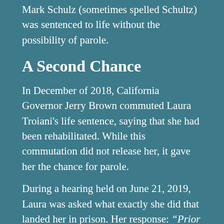Mark Schulz (sometimes spelled Schultz) was sentenced to life without the possibility of parole.
A Second Chance
In December of 2018, California Governor Jerry Brown commuted Laura Troiani's life sentence, saying that she had been rehabilitated. While this commutation did not release her, it gave her the chance for parole.
During a hearing held on June 21, 2019, Laura was asked what exactly she did that landed her in prison. Her response: “Prior to the actual brutal murder of Carlo Troiani, my spouse, I had put into motion several incidences leading up to Carlo being murdered. I was the mastermind. I was the one who utilized by codefendants as a tool and a means to, um, to, um, to